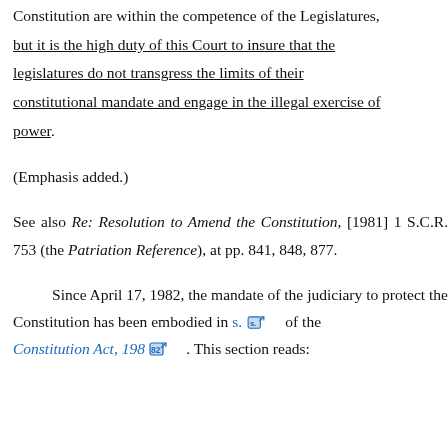Constitution are within the competence of the Legislatures, but it is the high duty of this Court to insure that the legislatures do not transgress the limits of their constitutional mandate and engage in the illegal exercise of power.
(Emphasis added.)
See also Re: Resolution to Amend the Constitution, [1981] 1 S.C.R. 753 (the Patriation Reference), at pp. 841, 848, 877.
Since April 17, 1982, the mandate of the judiciary to protect the Constitution has been embodied in s. [icon] of the Constitution Act, 1982 [icon]. This section reads: